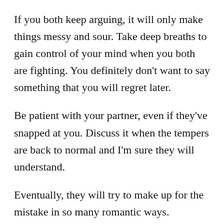If you both keep arguing, it will only make things messy and sour. Take deep breaths to gain control of your mind when you both are fighting. You definitely don’t want to say something that you will regret later.
Be patient with your partner, even if they’ve snapped at you. Discuss it when the tempers are back to normal and I’m sure they will understand.
Eventually, they will try to make up for the mistake in so many romantic ways.
• Write a letter...